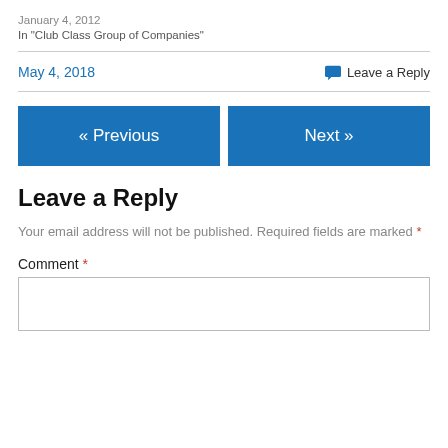January 4, 2012
In "Club Class Group of Companies"
May 4, 2018
Leave a Reply
« Previous
Next »
Leave a Reply
Your email address will not be published. Required fields are marked *
Comment *